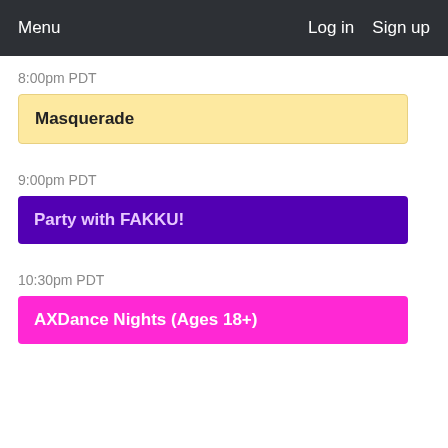Menu   Log in   Sign up
8:00pm PDT
Masquerade
9:00pm PDT
Party with FAKKU!
10:30pm PDT
AXDance Nights (Ages 18+)